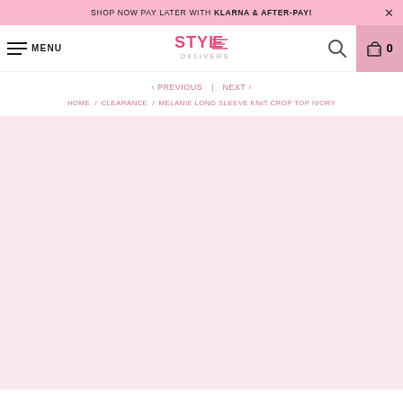SHOP NOW PAY LATER WITH KLARNA & AFTER-PAY!
MENU | Style Delivers logo | Search | Cart 0
< PREVIOUS | NEXT >
HOME / CLEARANCE / MELANIE LONG SLEEVE KNIT CROP TOP IVORY